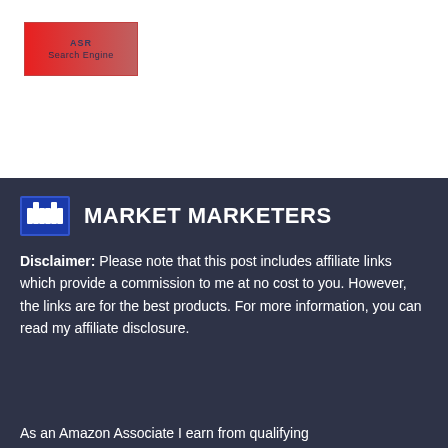[Figure (logo): ASR Search Engine logo — red gradient rectangle with text 'ASR Search Engine' in dark blue]
[Figure (logo): Market Marketers logo — blue square icon with 'm m' letters beside bold white text 'MARKET MARKETERS']
Disclaimer: Please note that this post includes affiliate links which provide a commission to me at no cost to you. However, the links are for the best products. For more information, you can read my affiliate disclosure.
As an Amazon Associate I earn from qualifying